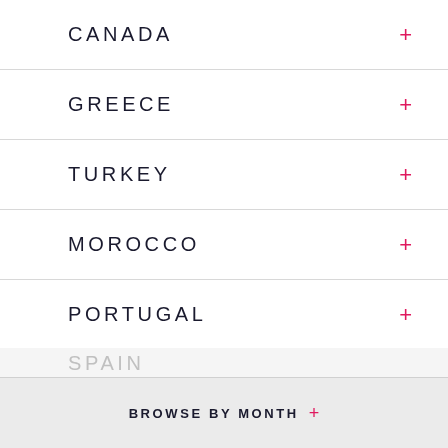CANADA +
GREECE +
TURKEY +
MOROCCO +
PORTUGAL +
EGYPT +
ZAMBIA +
BROWSE BY MONTH +
SPAIN